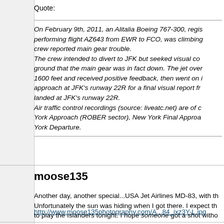Quote:
On February 9th, 2011, an Alitalia Boeing 767-300, regis... performing flight AZ643 from EWR to FCO, was climbing... crew reported main gear trouble. The crew intended to divert to JFK but seeked visual con... ground that the main gear was in fact down. The jet over... 1600 feet and received positive feedback, then went on i... approach at JFK's runway 22R for a final visual report fr... landed at JFK's runway 22R. Air traffic control recordings (source: liveatc.net) are of c... York Approach (ROBER sector), New York Final Approa... York Departure.
moose135
Another day, another special...USA Jet Airlines MD-83, with th... Unfortunately the sun was hiding when I got there. I expect th... to play the Islanders tonight. I hope someone got a shot witho...
http://www.moose135photography.com/A...84_ixz3Y-L.jpg